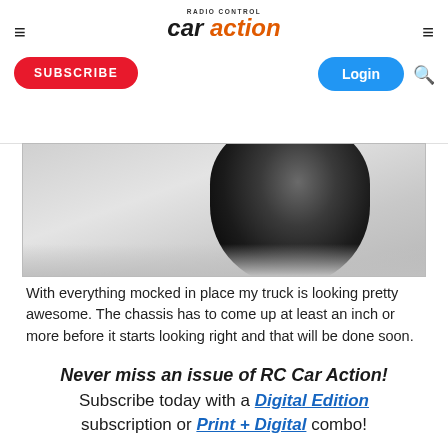RC Car Action - car action logo
[Figure (photo): Partial view of an RC truck wheel and chassis, dark colored, on a light gray/white surface]
With everything mocked in place my truck is looking pretty awesome. The chassis has to come up at least an inch or more before it starts looking right and that will be done soon.
Never miss an issue of RC Car Action! Subscribe today with a Digital Edition subscription or Print + Digital combo!